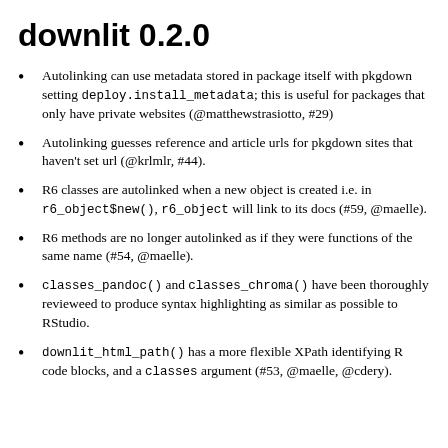downlit 0.2.0
Autolinking can use metadata stored in package itself with pkgdown setting deploy.install_metadata; this is useful for packages that only have private websites (@matthewstrasiotto, #29)
Autolinking guesses reference and article urls for pkgdown sites that haven't set url (@krlmlr, #44).
R6 classes are autolinked when a new object is created i.e. in r6_object$new(), r6_object will link to its docs (#59, @maelle).
R6 methods are no longer autolinked as if they were functions of the same name (#54, @maelle).
classes_pandoc() and classes_chroma() have been thoroughly revieweed to produce syntax highlighting as similar as possible to RStudio.
downlit_html_path() has a more flexible XPath identifying R code blocks, and a classes argument (#53, @maelle, @cdery).